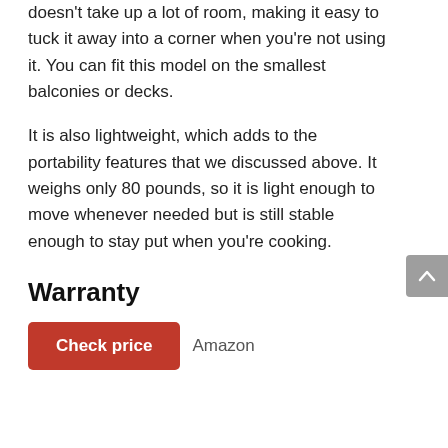doesn't take up a lot of room, making it easy to tuck it away into a corner when you're not using it. You can fit this model on the smallest balconies or decks.
It is also lightweight, which adds to the portability features that we discussed above. It weighs only 80 pounds, so it is light enough to move whenever needed but is still stable enough to stay put when you're cooking.
Warranty
Check price   Amazon